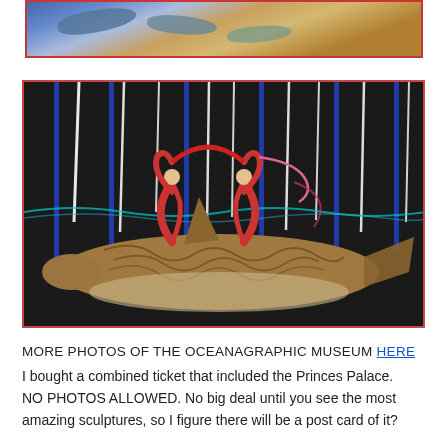[Figure (photo): Partial view of a painting with fish and colorful underwater/beach scene, framed with red border]
[Figure (photo): Artwork showing two gymnasts/acrobats in red leotards forming a heart shape with their bodies while standing on a large shark, against a dark background with vertical white and blue light strips and a cyan horizontal wave line]
MORE PHOTOS OF THE OCEANAGRAPHIC MUSEUM HERE
I bought a combined ticket that included the Princes Palace. NO PHOTOS ALLOWED. No big deal until you see the most amazing sculptures, so I figure there will be a post card of it?